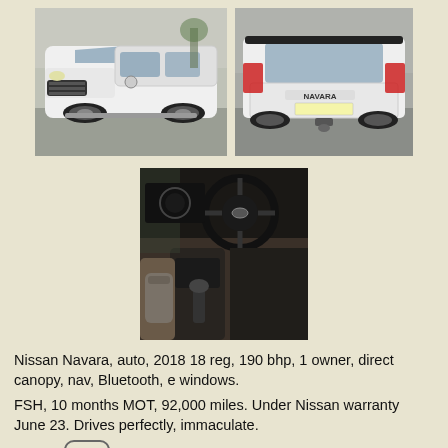[Figure (photo): Nissan Navara front/side view - white pickup truck]
[Figure (photo): Nissan Navara rear view - white pickup truck with Navara badge and tow bar]
[Figure (photo): Nissan Navara interior - steering wheel, center console, leather seat with backpack]
Nissan Navara, auto, 2018 18 reg, 190 bhp, 1 owner, direct canopy, nav, Bluetooth, e windows.
FSH, 10 months MOT, 92,000 miles. Under Nissan warranty June 23. Drives perfectly, immaculate.
Price: £16,250 ono
Location: West Midlands